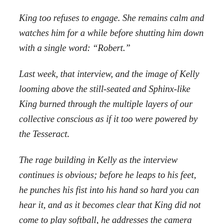King too refuses to engage. She remains calm and watches him for a while before shutting him down with a single word: “Robert.”
Last week, that interview, and the image of Kelly looming above the still-seated and Sphinx-like King burned through the multiple layers of our collective conscious as if it too were powered by the Tesseract.
The rage building in Kelly as the interview continues is obvious; before he leaps to his feet, he punches his fist into his hand so hard you can hear it, and as it becomes clear that King did not come to play softball, he addresses the camera directly, attempting to hijack the interview and turn it into a personal service